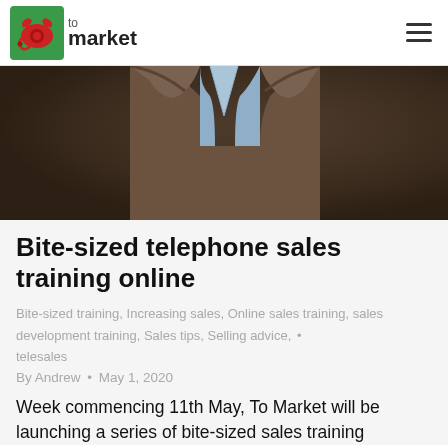to market
[Figure (photo): A man wearing a brown blazer over a light blue shirt, photographed from chest level, dark background, professional portrait style.]
Bite-sized telephone sales training online
Bite-sized training, Increasing sales, Online sales training, sales development training, Sales tips, Selling advice, telesales
By Andrew • May 1, 2020
Week commencing 11th May, To Market will be launching a series of bite-sized sales training modules for our training online. We'll publish the